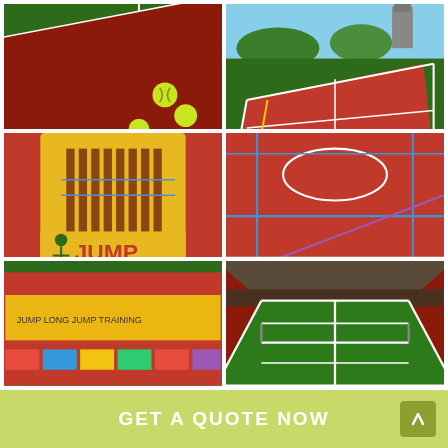[Figure (photo): Close-up of red and green tennis court surface with white line markings and three yellow tennis balls]
[Figure (photo): Aerial view of outdoor red and green tennis court with white and yellow line markings, trees and church tower in background]
[Figure (photo): Red sports court surface with a yellow JUMP long-jump measurement mat/graphic]
[Figure (photo): Red multi-sport court viewed from corner angle with blue and yellow line markings and green fencing]
[Figure (photo): Red sports court with green border and colorful markings, partially visible at bottom]
[Figure (photo): Indoor green tennis court viewed from elevated angle with white line markings]
GET A QUOTE NOW